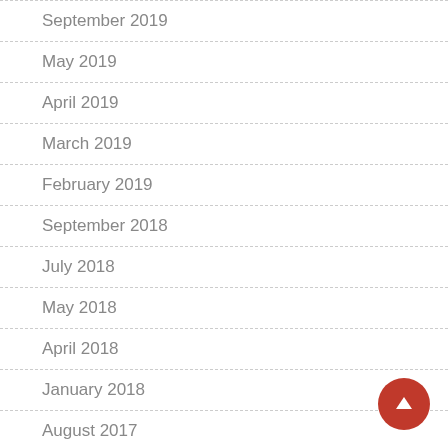September 2019
May 2019
April 2019
March 2019
February 2019
September 2018
July 2018
May 2018
April 2018
January 2018
August 2017
June 2017